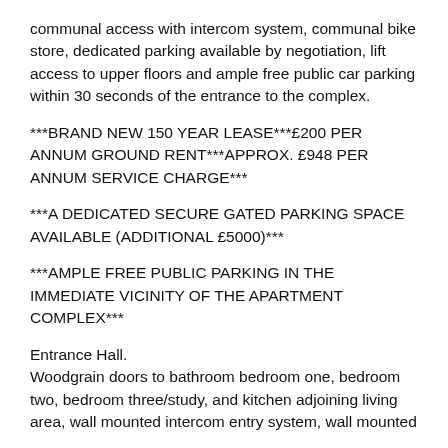communal access with intercom system, communal bike store, dedicated parking available by negotiation, lift access to upper floors and ample free public car parking within 30 seconds of the entrance to the complex.
***BRAND NEW 150 YEAR LEASE***£200 PER ANNUM GROUND RENT***APPROX. £948 PER ANNUM SERVICE CHARGE***
***A DEDICATED SECURE GATED PARKING SPACE AVAILABLE (ADDITIONAL £5000)***
***AMPLE FREE PUBLIC PARKING IN THE IMMEDIATE VICINITY OF THE APARTMENT COMPLEX***
Entrance Hall.
Woodgrain doors to bathroom bedroom one, bedroom two, bedroom three/study, and kitchen adjoining living area, wall mounted intercom entry system, wall mounted